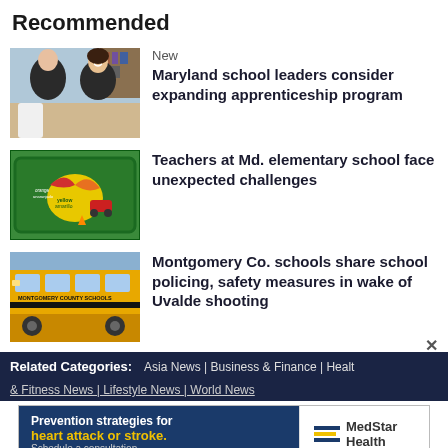Recommended
[Figure (photo): Two people in a meeting, one facing camera smiling]
New
Maryland school leaders consider expanding apprenticeship program
[Figure (photo): Colorful classroom floor mat with shapes and colors in multiple languages]
Teachers at Md. elementary school face unexpected challenges
[Figure (photo): Yellow school bus with Montgomery County Schools text on side]
Montgomery Co. schools share school policing, safety measures in wake of Uvalde shooting
Related Categories: Asia News | Business & Finance | Health & Fitness News | Lifestyle News | World News
[Figure (photo): MedStar Health advertisement - Prevention strategies for heart attack or stroke. Schedule a consultation.]
Arou